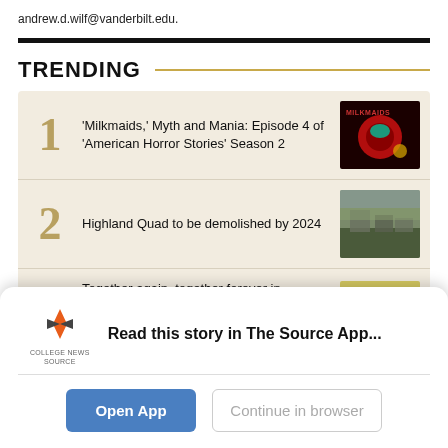andrew.d.wilf@vanderbilt.edu.
TRENDING
'Milkmaids,' Myth and Mania: Episode 4 of 'American Horror Stories' Season 2
Highland Quad to be demolished by 2024
Together again, together forever in 'Adventure Time: Distant Lands'
Read this story in The Source App...
Open App
Continue in browser